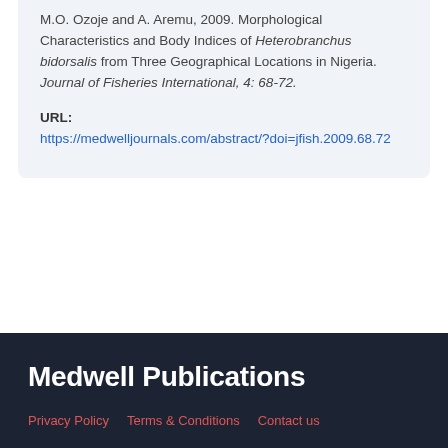M.O. Ozoje and A. Aremu, 2009. Morphological Characteristics and Body Indices of Heterobranchus bidorsalis from Three Geographical Locations in Nigeria. Journal of Fisheries International, 4: 68-72.
URL: https://medwelljournals.com/abstract/?doi=jfish.2009.68.72
Medwell Publications | Privacy Policy | Terms & Conditions | Contact us